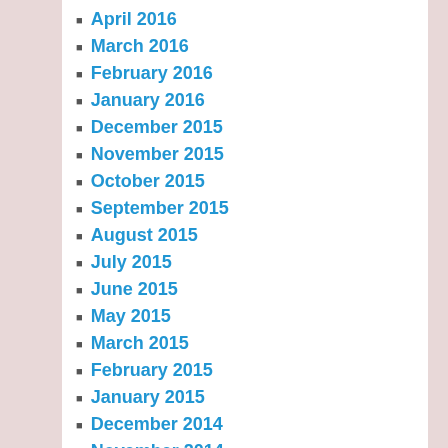April 2016
March 2016
February 2016
January 2016
December 2015
November 2015
October 2015
September 2015
August 2015
July 2015
June 2015
May 2015
March 2015
February 2015
January 2015
December 2014
November 2014
October 2014
September 2014
August 2014
July 2014
June 2014